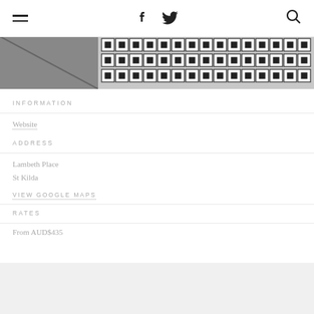Navigation bar with hamburger menu, Facebook icon, Twitter icon, and search icon
[Figure (photo): Black and white geometric patterned tile flooring, partial view from above]
INFORMATION
Website
ADDRESS
Lambeth Place
St Kilda
VIEW GOOGLE MAPS
RATES
From AUD$435